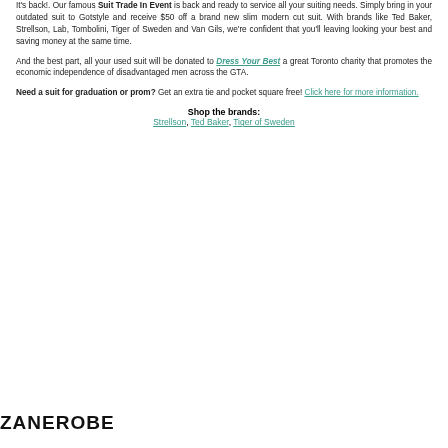It's back!. Our famous Suit Trade In Event is back and ready to service all your suiting needs. Simply bring in your outdated suit to Gotstyle and receive $50 off a brand new slim modern cut suit. With brands like Ted Baker, Strellson, Lab, Tombolini, Tiger of Sweden and Van Gils, we're confident that you'll leaving looking your best and saving money at the same time.
And the best part, all your used suit will be donated to Dress Your Best a great Toronto charity that promotes the economic independence of disadvantaged men across the GTA.
Need a suit for graduation or prom? Get an extra tie and pocket square free! Click here for more information.
Shop the brands: Strellson, Ted Baker, Tiger of Sweden
ZANEROBE